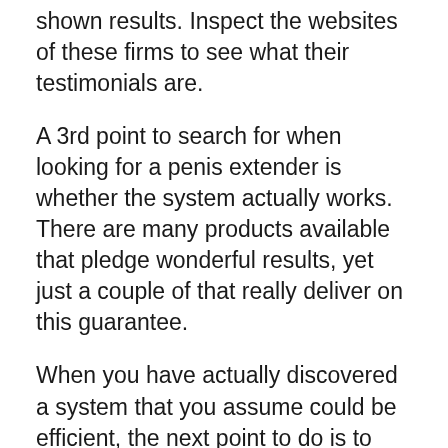shown results. Inspect the websites of these firms to see what their testimonials are.
A 3rd point to search for when looking for a penis extender is whether the system actually works. There are many products available that pledge wonderful results, yet just a couple of that really deliver on this guarantee.
When you have actually discovered a system that you assume could be efficient, the next point to do is to determine where you can get your penis extender from.
The most effective location to acquire a penis extender is from the manufacturer. Since many of these are made of medical